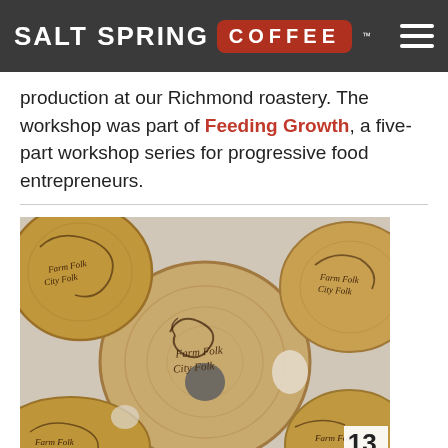SALT SPRING COFFEE
production at our Richmond roastery. The workshop was part of Feeding Growth, a five-part workshop series for progressive food entrepreneurs.
[Figure (photo): Wooden tokens/coasters with burned 'FarmFolk CityFolk' branding logo, arranged on a light surface]
13. Supporting local producers with FarmFolk CityFolk